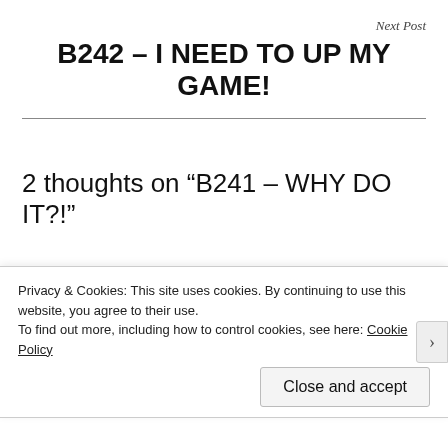Next Post
B242 – I NEED TO UP MY GAME!
2 thoughts on “B241 – WHY DO IT?!”
Ken Dowell
December 2, 2017   Reply
Privacy & Cookies: This site uses cookies. By continuing to use this website, you agree to their use.
To find out more, including how to control cookies, see here: Cookie Policy